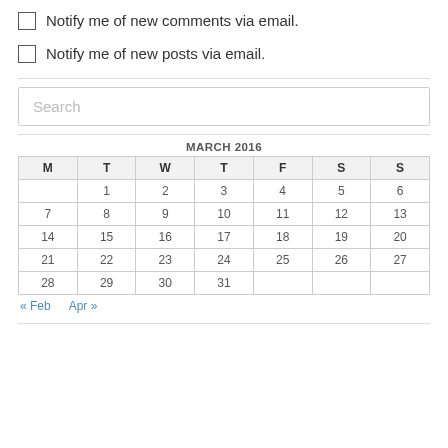Notify me of new comments via email.
Notify me of new posts via email.
Search
| M | T | W | T | F | S | S |
| --- | --- | --- | --- | --- | --- | --- |
|  | 1 | 2 | 3 | 4 | 5 | 6 |
| 7 | 8 | 9 | 10 | 11 | 12 | 13 |
| 14 | 15 | 16 | 17 | 18 | 19 | 20 |
| 21 | 22 | 23 | 24 | 25 | 26 | 27 |
| 28 | 29 | 30 | 31 |  |  |  |
« Feb   Apr »